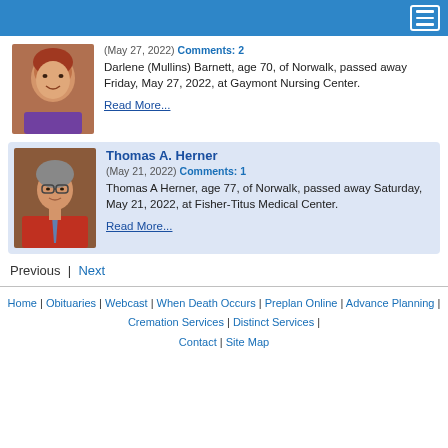Navigation header bar
[Figure (photo): Photo of Darlene (Mullins) Barnett, a woman with short reddish hair, smiling]
(May 27, 2022) Comments: 2
Darlene (Mullins) Barnett, age 70, of Norwalk, passed away Friday, May 27, 2022, at Gaymont Nursing Center.
Read More...
[Figure (photo): Photo of Thomas A. Herner, an older man with glasses and gray hair, wearing a red shirt with a tie]
Thomas A. Herner
(May 21, 2022) Comments: 1
Thomas A Herner, age 77, of Norwalk, passed away Saturday, May 21, 2022, at Fisher-Titus Medical Center.
Read More...
Previous | Next
Home | Obituaries | Webcast | When Death Occurs | Preplan Online | Advance Planning | Cremation Services | Distinct Services | Contact | Site Map